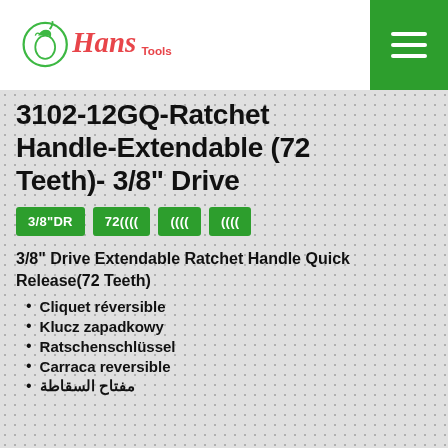Hans Tools
3102-12GQ-Ratchet Handle-Extendable (72 Teeth)- 3/8" Drive
3/8"DR | 72齒數 | 快脫 | 翻轉
3/8" Drive Extendable Ratchet Handle Quick Release(72 Teeth)
Cliquet réversible
Klucz zapadkowy
Ratschenschlüssel
Carraca reversible
مفتاح السقاطة